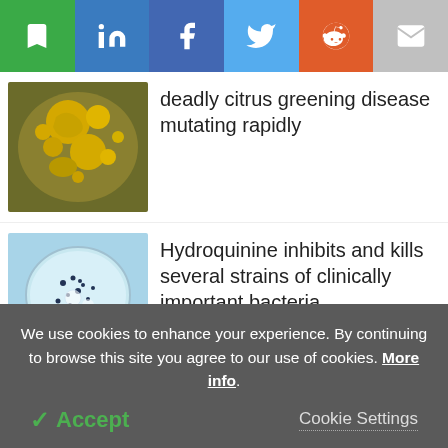[Figure (other): Social sharing toolbar with bookmark (green), LinkedIn (blue), Facebook (blue), Twitter (light blue), Reddit (orange), and email (gray) icon buttons]
[Figure (photo): Petri dish showing yellow/orange bacterial colonies on agar, related to citrus greening disease]
deadly citrus greening disease mutating rapidly
[Figure (photo): Gloved hand holding a petri dish with small dark bacterial colonies on light blue agar]
Hydroquinine inhibits and kills several strains of clinically important bacteria
[Figure (photo): Partial blue image related to DNA regulatory article]
AI tools forecast DNA's regulatory
We use cookies to enhance your experience. By continuing to browse this site you agree to our use of cookies. More info.